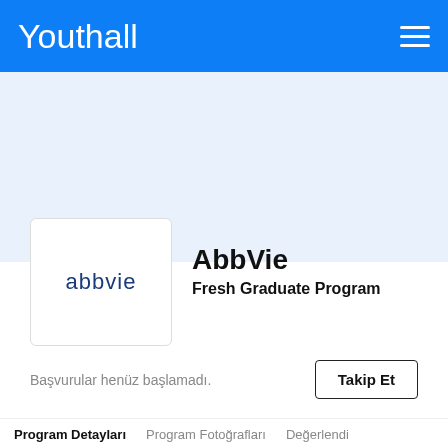Youthall
[Figure (logo): AbbVie company logo — text 'abbvie' in dark blue lowercase letters]
AbbVie
Fresh Graduate Program
Başvurular henüz başlamadı.
Takip Et
Program Detayları
Program Fotoğrafları
Değerlendi